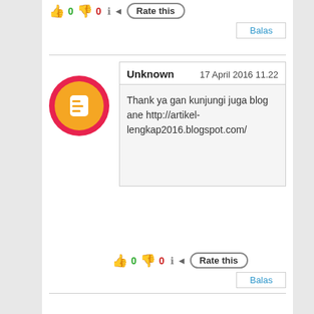[Figure (other): Rate this widget with thumbs up (0) and thumbs down (0) icons and Rate this button]
Balas
[Figure (other): Blogger avatar icon - orange circle with B inside, surrounded by pink/red ring]
Unknown    17 April 2016 11.22
Thank ya gan kunjungi juga blog ane http://artikel-lengkap2016.blogspot.com/
[Figure (other): Rate this widget with thumbs up (0) and thumbs down (0) icons and Rate this button]
Balas